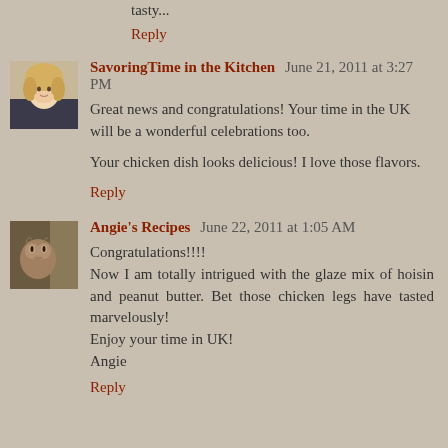tasty...
Reply
SavoringTime in the Kitchen June 21, 2011 at 3:27 PM
Great news and congratulations! Your time in the UK will be a wonderful celebrations too.

Your chicken dish looks delicious! I love those flavors.
Reply
Angie's Recipes June 22, 2011 at 1:05 AM
Congratulations!!!!
Now I am totally intrigued with the glaze mix of hoisin and peanut butter. Bet those chicken legs have tasted marvelously!
Enjoy your time in UK!
Angie
Reply